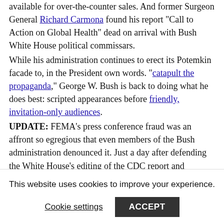available for over-the-counter sales. And former Surgeon General Richard Carmona found his report "Call to Action on Global Health" dead on arrival with Bush White House political commissars.
While his administration continues to erect its Potemkin facade to, in the President own words. "catapult the propaganda," George W. Bush is back to doing what he does best: scripted appearances before friendly, invitation-only audiences.
UPDATE: FEMA's press conference fraud was an affront so egregious that even members of the Bush administration denounced it. Just a day after defending the White House's editing of the CDC report and praising the health benefits of global warming, Dana Perino claimed "It is not a practice that we would employ here at the White House or that we - we certainly don't condone it." Meanwhile, Department of Homeland Security
This website uses cookies to improve your experience.
Cookie settings   ACCEPT